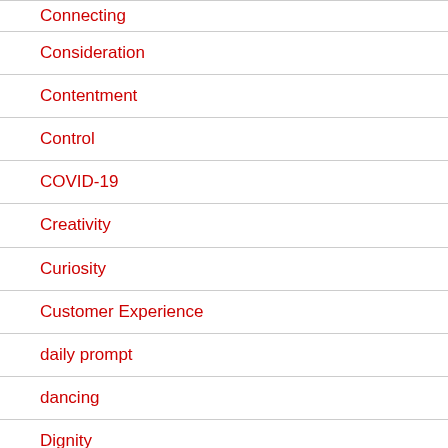Connecting
Consideration
Contentment
Control
COVID-19
Creativity
Curiosity
Customer Experience
daily prompt
dancing
Dignity